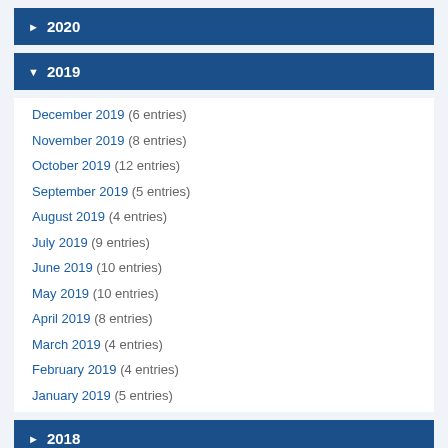▶ 2020
▼ 2019
December 2019 (6 entries)
November 2019 (8 entries)
October 2019 (12 entries)
September 2019 (5 entries)
August 2019 (4 entries)
July 2019 (9 entries)
June 2019 (10 entries)
May 2019 (10 entries)
April 2019 (8 entries)
March 2019 (4 entries)
February 2019 (4 entries)
January 2019 (5 entries)
▶ 2018
▶ 2017
▶ 2016